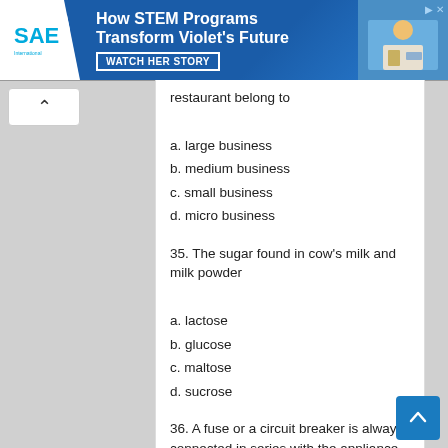[Figure (infographic): SAE advertisement banner: How STEM Programs Transform Violet's Future - WATCH HER STORY]
restaurant belong to
a. large business
b. medium business
c. small business
d. micro business
35. The sugar found in cow's milk and milk powder
a. lactose
b. glucose
c. maltose
d. sucrose
36. A fuse or a circuit breaker is always connected in series with the appliance or the